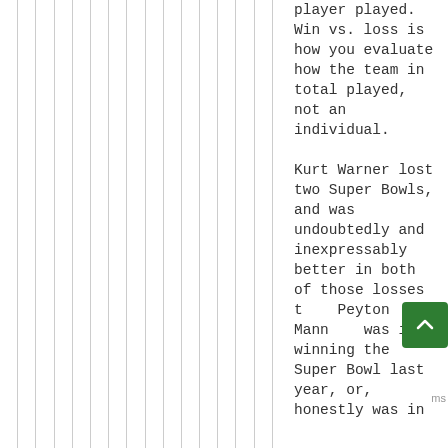player played. Win vs. loss is how you evaluate how the team in total played, not an individual.

Kurt Warner lost two Super Bowls, and was undoubtedly and inexpressably better in both of those losses than Peyton Manning was in winning the Super Bowl last year, or, honestly was in